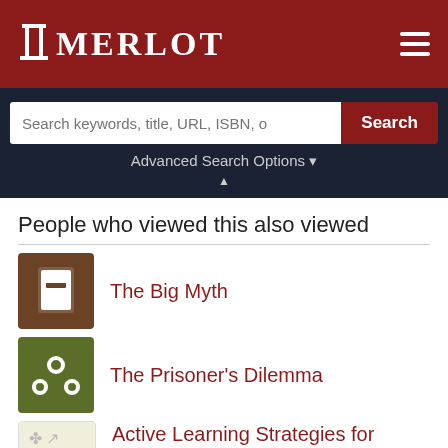MERLOT
Search keywords, title, URL, ISBN, o
Advanced Search Options
People who viewed this also viewed
The Big Myth
The Prisoner's Dilemma
Active Learning Strategies for Teaching about Religion